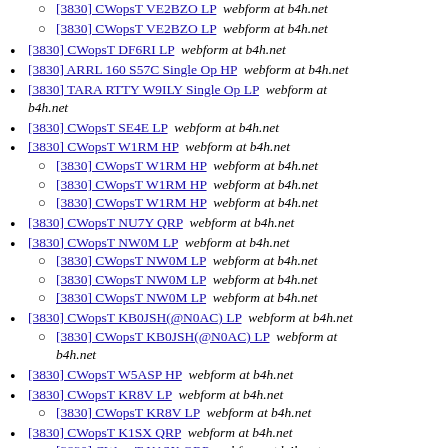[3830] CWopsT VE2BZO LP  webform at b4h.net
[3830] CWopsT VE2BZO LP  webform at b4h.net
[3830] CWopsT DF6RI LP  webform at b4h.net
[3830] ARRL 160 S57C Single Op HP  webform at b4h.net
[3830] TARA RTTY W9ILY Single Op LP  webform at b4h.net
[3830] CWopsT SE4E LP  webform at b4h.net
[3830] CWopsT W1RM HP  webform at b4h.net
[3830] CWopsT W1RM HP  webform at b4h.net
[3830] CWopsT W1RM HP  webform at b4h.net
[3830] CWopsT W1RM HP  webform at b4h.net
[3830] CWopsT NU7Y QRP  webform at b4h.net
[3830] CWopsT NW0M LP  webform at b4h.net
[3830] CWopsT NW0M LP  webform at b4h.net
[3830] CWopsT NW0M LP  webform at b4h.net
[3830] CWopsT NW0M LP  webform at b4h.net
[3830] CWopsT KB0JSH(@N0AC) LP  webform at b4h.net
[3830] CWopsT KB0JSH(@N0AC) LP  webform at b4h.net
[3830] CWopsT W5ASP HP  webform at b4h.net
[3830] CWopsT KR8V LP  webform at b4h.net
[3830] CWopsT KR8V LP  webform at b4h.net
[3830] CWopsT K1SX QRP  webform at b4h.net
[3830] CWopsT K1SX QRP  webform at b4h.net
[3830] CWopsT KI7MT LP  webform at b4h.net
[3830] CWopsT NW?M LP  webform at b4h.net